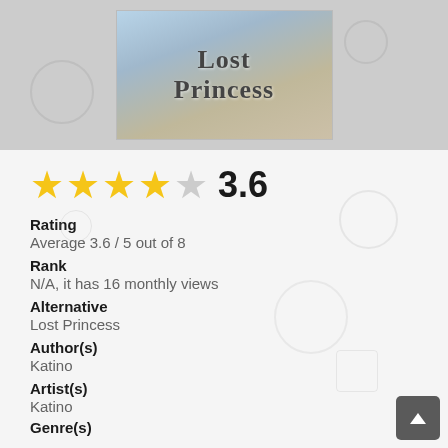[Figure (illustration): Book cover image for 'Lost Princess' manga/novel with fantasy artwork]
[Figure (other): Star rating display showing 3.6 out of 5 stars (3 full stars, 1 partial, 1 empty) with numeric score 3.6]
Rating
Average 3.6 / 5 out of 8
Rank
N/A, it has 16 monthly views
Alternative
Lost Princess
Author(s)
Katino
Artist(s)
Katino
Genre(s)